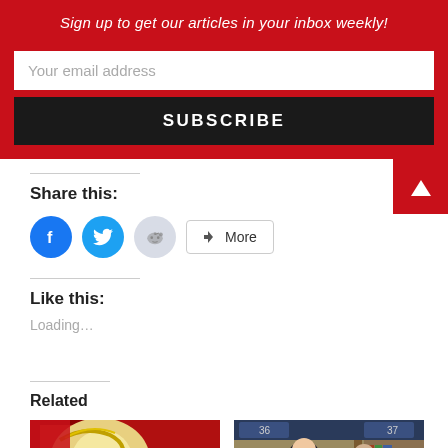Sign up to get our articles in your inbox weekly!
Your email address
SUBSCRIBE
Share this:
[Figure (infographic): Social share buttons: Facebook (blue circle), Twitter (blue circle), Reddit (grey circle), and a More button with share icon]
Like this:
Loading...
Related
[Figure (photo): Anime or manga illustration showing a red-caped eagle-like character with fierce eyes and white/cream feathers]
[Figure (screenshot): Anime screenshot showing two characters in a library with score numbers 36 and 37 visible at top]